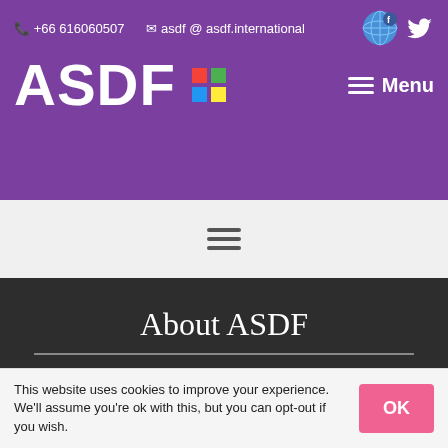+66 616060507   asdf @ asdf.international
ASDF
Menu
About ASDF
Association of Scientists, Developers and Faculties (ASDF) is an International Not-For-Profit organization focusing on Research and Development.
India | Thailand | South Korea | United Kingdom
This website uses cookies to improve your experience. We'll assume you're ok with this, but you can opt-out if you wish.